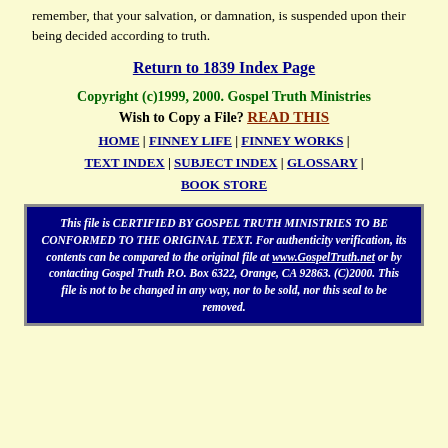remember, that your salvation, or damnation, is suspended upon their being decided according to truth.
Return to 1839 Index Page
Copyright (c)1999, 2000. Gospel Truth Ministries
Wish to Copy a File? READ THIS
HOME | FINNEY LIFE | FINNEY WORKS | TEXT INDEX | SUBJECT INDEX | GLOSSARY | BOOK STORE
This file is CERTIFIED BY GOSPEL TRUTH MINISTRIES TO BE CONFORMED TO THE ORIGINAL TEXT. For authenticity verification, its contents can be compared to the original file at www.GospelTruth.net or by contacting Gospel Truth P.O. Box 6322, Orange, CA 92863. (C)2000. This file is not to be changed in any way, nor to be sold, nor this seal to be removed.